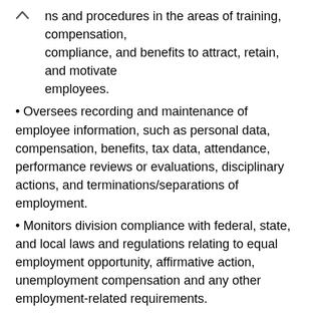ns and procedures in the areas of training, compensation, compliance, and benefits to attract, retain, and motivate employees.
Oversees recording and maintenance of employee information, such as personal data, compensation, benefits, tax data, attendance, performance reviews or evaluations, disciplinary actions, and terminations/separations of employment.
Monitors division compliance with federal, state, and local laws and regulations relating to equal employment opportunity, affirmative action, unemployment compensation and any other employment-related requirements.
Coordinates with division operations and corporate/area Human Resources staff regarding all employment activity (i.e., hiring, employee relations, compliance, terminations, etc.) within the division.
Assists in conducting and resolving investigations regarding employee complaints and concerns.
Participates in local management staff meetings and assists with and influences personnel related decisions.